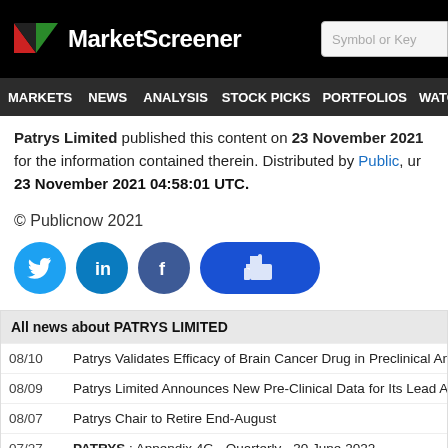MarketScreener | Symbol or Key
MARKETS NEWS ANALYSIS STOCK PICKS PORTFOLIOS WATCHLI
Patrys Limited published this content on 23 November 2021 for the information contained therein. Distributed by Public, un 23 November 2021 04:58:01 UTC.
© Publicnow 2021
[Figure (infographic): Social sharing buttons: Twitter, LinkedIn, Facebook (round icons) and a thumbs-up like button (pill shaped)]
| Date | Headline |
| --- | --- |
| 08/10 | Patrys Validates Efficacy of Brain Cancer Drug in Preclinical Animal Study |
| 08/09 | Patrys Limited Announces New Pre-Clinical Data for Its Lead Asset, Pat-D |
| 08/07 | Patrys Chair to Retire End-August |
| 07/27 | PATRYS : Appendix 4G - Quarterly - 30 June 2022 |